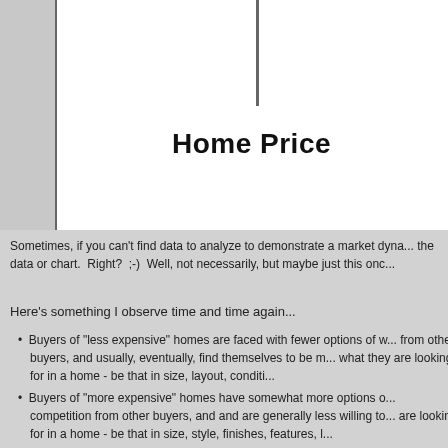Home Price
Sometimes, if you can't find data to analyze to demonstrate a market dyna... the data or chart.  Right?  ;-)  Well, not necessarily, but maybe just this onc...
Here's something I observe time and time again...
Buyers of "less expensive" homes are faced with fewer options of w... from other buyers, and usually, eventually, find themselves to be m... what they are looking for in a home - be that in size, layout, conditic...
Buyers of "more expensive" homes have somewhat more options o... competition from other buyers, and and are generally less willing to... are looking for in a home - be that in size, style, finishes, features, l...
And it sort of makes sense when you think of it from a price perspective...
If I'm going to try to pay this little ($) for a house, I understand I mig... some other areas.